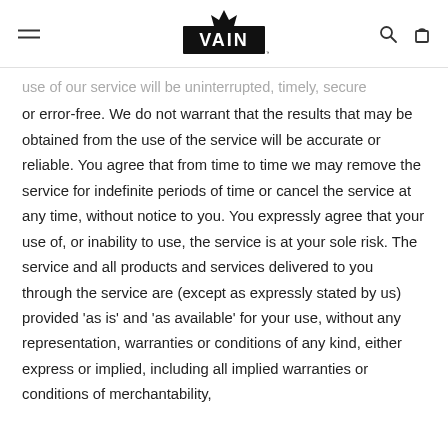VAIN
use of our service will be uninterrupted, timely, secure or error-free. We do not warrant that the results that may be obtained from the use of the service will be accurate or reliable. You agree that from time to time we may remove the service for indefinite periods of time or cancel the service at any time, without notice to you. You expressly agree that your use of, or inability to use, the service is at your sole risk. The service and all products and services delivered to you through the service are (except as expressly stated by us) provided 'as is' and 'as available' for your use, without any representation, warranties or conditions of any kind, either express or implied, including all implied warranties or conditions of merchantability,